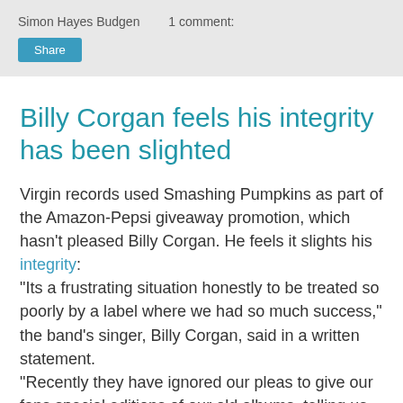Simon Hayes Budgen   1 comment:
Billy Corgan feels his integrity has been slighted
Virgin records used Smashing Pumpkins as part of the Amazon-Pepsi giveaway promotion, which hasn't pleased Billy Corgan. He feels it slights his integrity: "Its a frustrating situation honestly to be treated so poorly by a label where we had so much success," the band's singer, Billy Corgan, said in a written statement.
"Recently they have ignored our pleas to give our fans special editions of our old albums, telling us they weren't interested so there is a tremendous amount of hypocrisy involved with them turning around and using us like this," Corgan said
The band uses...Smashing Pumpkins directed...